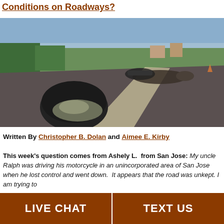Conditions on Roadways?
[Figure (photo): Motorcycle accident scene showing a fallen rider lying on a road and a helmet in the foreground, with grass and sky visible in the background.]
Written By Christopher B. Dolan and Aimee E. Kirby
This week's question comes from Ashely L.  from San Jose: My uncle Ralph was driving his motorcycle in an unincorporated area of San Jose when he lost control and went down. It appears that the road was unkept. I am trying to
LIVE CHAT   TEXT US